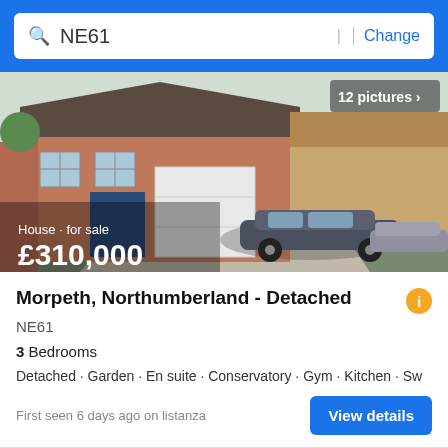NE61  | Change
[Figure (photo): A detached brick house with blue front door and white garage door, a dark grey car parked on the driveway. Two cars visible. Text overlay: 'House · for sale £310,000'. Badge: '12 pictures >']
Morpeth, Northumberland - Detached
NE61
3 Bedrooms
Detached · Garden · En suite · Conservatory · Gym · Kitchen · Sw
First seen 6 days ago on listanza
View details
1  2  3  4  5  >